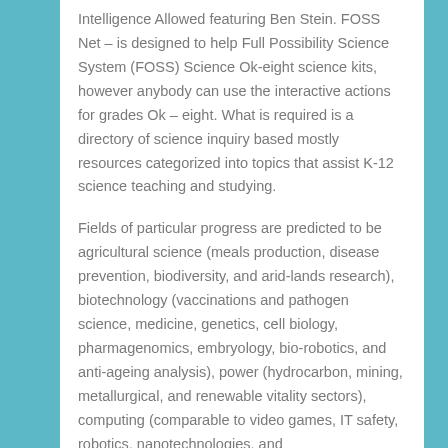Intelligence Allowed featuring Ben Stein. FOSS Net – is designed to help Full Possibility Science System (FOSS) Science Ok-eight science kits, however anybody can use the interactive actions for grades Ok – eight. What is required is a directory of science inquiry based mostly resources categorized into topics that assist K-12 science teaching and studying.
Fields of particular progress are predicted to be agricultural science (meals production, disease prevention, biodiversity, and arid-lands research), biotechnology (vaccinations and pathogen science, medicine, genetics, cell biology, pharmagenomics, embryology, bio-robotics, and anti-ageing analysis), power (hydrocarbon, mining, metallurgical, and renewable vitality sectors), computing (comparable to video games, IT safety, robotics, nanotechnologies, and